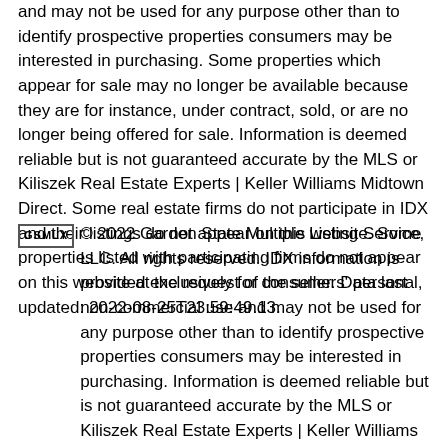and may not be used for any purpose other than to identify prospective properties consumers may be interested in purchasing. Some properties which appear for sale may no longer be available because they are for instance, under contract, sold, or are no longer being offered for sale. Information is deemed reliable but is not guaranteed accurate by the MLS or Kiliszek Real Estate Experts | Keller Williams Midtown Direct. Some real estate firms do not participate in IDX and their listings do not appear on this website. Some properties listed with participating firms do not appear on this website at the request of the seller. Data last updated: 2022-08-25T23:59:49.13.
© 2022 Garden State Multiple Listing Service, LLC. All rights reserved. IDX information is provided exclusively for consumers' personal, non-commercial use and may not be used for any purpose other than to identify prospective properties consumers may be interested in purchasing. Information is deemed reliable but is not guaranteed accurate by the MLS or Kiliszek Real Estate Experts | Keller Williams Midtown Direct. Notice: The dissemination of listings on this website does not constitute the consent required by N.J.A.C. 11:5.6.1 (n) for the advertisement of listings exclusively for sale by another broker. Any